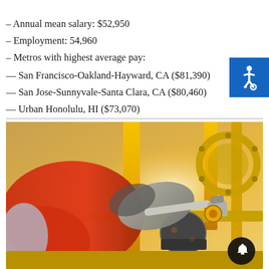– Annual mean salary: $52,950
– Employment: 54,960
– Metros with highest average pay:
— San Francisco-Oakland-Hayward, CA ($81,390)
— San Jose-Sunnyvale-Santa Clara, CA ($80,460)
— Urban Honolulu, HI ($73,070)
[Figure (illustration): Accessibility icon — white wheelchair symbol on blue background]
[Figure (photo): A worker in orange coveralls and gray gloves using a wrench on yellow industrial pipeline valves and fittings, with a notification bell button overlay in the lower right corner.]